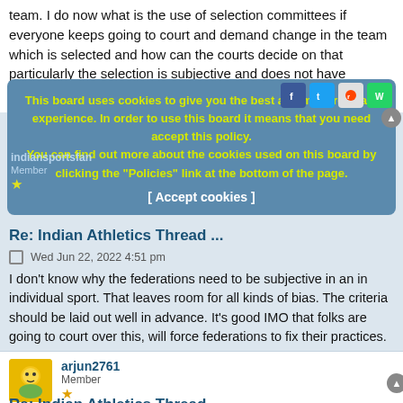team. I do now what is the use of selection committees if everyone keeps going to court and demand change in the team which is selected and how can the courts decide on that particularly the selection is subjective and does not have objective criteria like in case of Athletics.
[Figure (screenshot): Cookie consent overlay banner on a forum page with yellow bold text on blue/teal background, with accept cookies button]
indiansportsfan
Member
Re: Indian Athletics Thread ...
Wed Jun 22, 2022 4:51 pm
I don't know why the federations need to be subjective in an in individual sport. That leaves room for all kinds of bias. The criteria should be laid out well in advance. It's good IMO that folks are going to court over this, will force federations to fix their practices.
arjun2761
Member
Re: Indian Athletics Thread ...